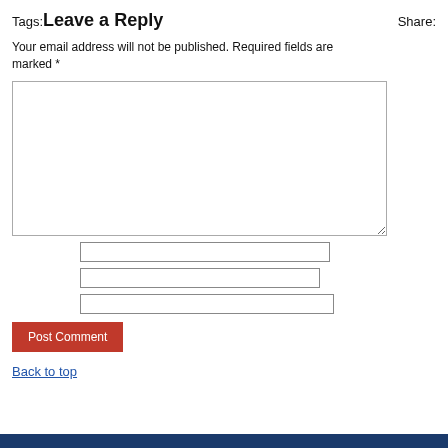Tags: Leave a Reply
Share:
Your email address will not be published. Required fields are marked *
[Figure (other): Comment text area input box]
[Figure (other): Three text input fields for name, email, and website]
[Figure (other): Post Comment button (red/dark red background)]
Back to top